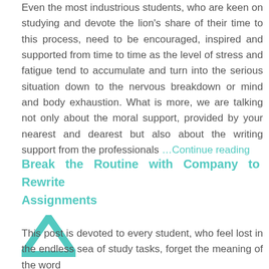Even the most industrious students, who are keen on studying and devote the lion's share of their time to this process, need to be encouraged, inspired and supported from time to time as the level of stress and fatigue tend to accumulate and turn into the serious situation down to the nervous breakdown or mind and body exhaustion. What is more, we are talking not only about the moral support, provided by your nearest and dearest but also about the writing support from the professionals …Continue reading
Break the Routine with Company to Rewrite Assignments
[Figure (illustration): A teal/turquoise upward-pointing chevron arrow icon]
This post is devoted to every student, who feel lost in the endless sea of study tasks, forget the meaning of the word